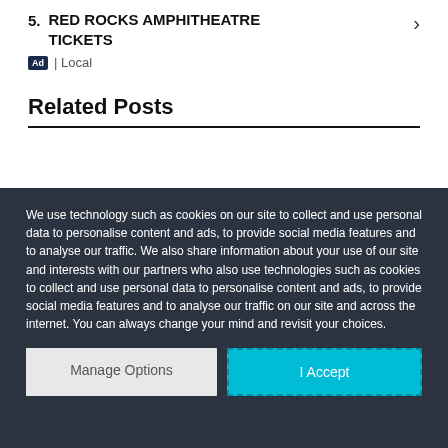5. RED ROCKS AMPHITHEATRE TICKETS
Ad | Local
Related Posts
We use technology such as cookies on our site to collect and use personal data to personalise content and ads, to provide social media features and to analyse our traffic. We also share information about your use of our site and interests with our partners who also use technologies such as cookies to collect and use personal data to personalise content and ads, to provide social media features and to analyse our traffic on our site and across the internet. You can always change your mind and revisit your choices.
Manage Options
I Accept